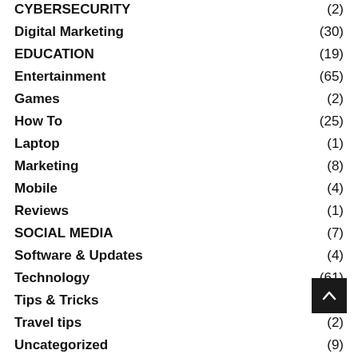CYBERSECURITY (2)
Digital Marketing (30)
EDUCATION (19)
Entertainment (65)
Games (2)
How To (25)
Laptop (1)
Marketing (8)
Mobile (4)
Reviews (1)
SOCIAL MEDIA (7)
Software & Updates (4)
Technology (61)
Tips & Tricks (10)
Travel tips (2)
Uncategorized (9)